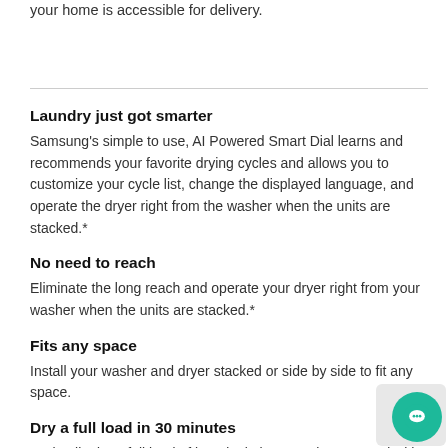your home is accessible for delivery.
Laundry just got smarter
Samsung's simple to use, AI Powered Smart Dial learns and recommends your favorite drying cycles and allows you to customize your cycle list, change the displayed language, and operate the dryer right from the washer when the units are stacked.*
No need to reach
Eliminate the long reach and operate your dryer right from your washer when the units are stacked.*
Fits any space
Install your washer and dryer stacked or side by side to fit any space.
Dry a full load in 30 minutes
Optimally dry a full load of laundry in just 30 minutes,* and with an added Super Speed Washer, achieve a